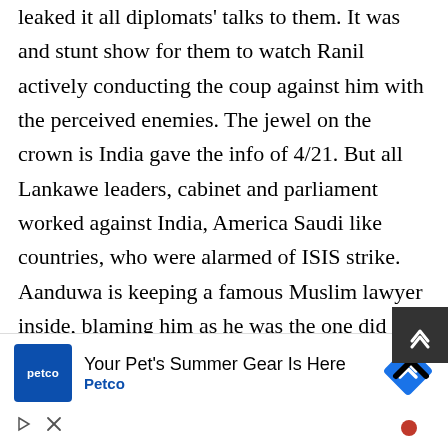leaked it all diplomats' talks to them. It was and stunt show for them to watch Ranil actively conducting the coup against him with the perceived enemies. The jewel on the crown is India gave the info of 4/21. But all Lankawe leaders, cabinet and parliament worked against India, America Saudi like countries, who were alarmed of ISIS strike. Aanduwa is keeping a famous Muslim lawyer inside, blaming him as he was the one did it. Haffeze Hisbullah may have done or he is innocent like everybody says. But who are people accusing him? Genocide Criminals? Many international tourists were hurt. but
[Figure (other): Advertisement banner for Petco - 'Your Pet's Summer Gear Is Here' with Petco logo and navigation arrow icon]